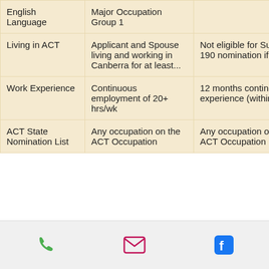|  | Subclass 190 | Subclass 491 |
| --- | --- | --- |
| English Language | Major Occupation Group 1 |  |
| Living in ACT | Applicant and Spouse living and working in Canberra for at least... | Not eligible for Subclass 190 nomination if... |
| Work Experience | Continuous employment of 20+ hrs/wk | 12 months continuous experience (within the last...) |
| ACT State Nomination List | Any occupation on the ACT Occupation... | Any occupation on the ACT Occupation... |
313111
[Figure (other): Bottom navigation bar with phone, email, and Facebook icons]